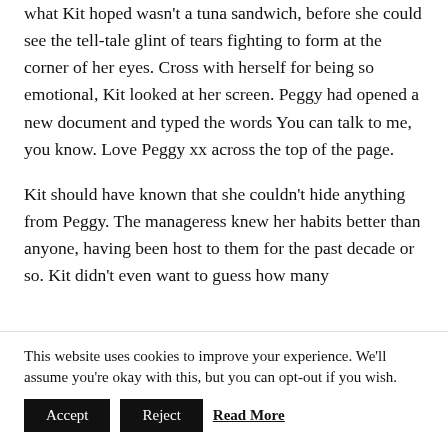Peggy waved as she disappeared into the kitchen, to what Kit hoped wasn't a tuna sandwich, before she could see the tell-tale glint of tears fighting to form at the corner of her eyes. Cross with herself for being so emotional, Kit looked at her screen. Peggy had opened a new document and typed the words You can talk to me, you know. Love Peggy xx across the top of the page.
Kit should have known that she couldn't hide anything from Peggy. The manageress knew her habits better than anyone, having been host to them for the past decade or so. Kit didn't even want to guess how many
This website uses cookies to improve your experience. We'll assume you're okay with this, but you can opt-out if you wish.